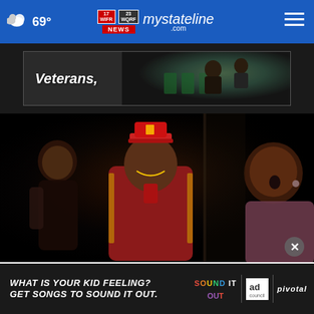69° mystateline.com news header
[Figure (screenshot): Advertisement banner showing 'Veterans,' text with dimly lit theater scene in background]
[Figure (photo): Theater performance scene with three actors: one in red bellhop costume/hat in center, one on left, one on right]
[Figure (screenshot): Advertisement: 'What is your kid feeling? Get songs to sound it out.' with Sound It Out, Ad Council, and Pivotal logos]